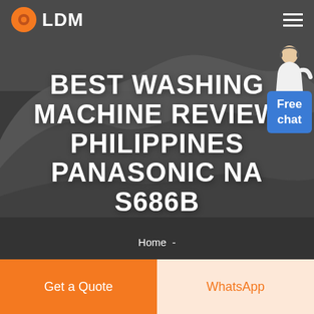LDM
[Figure (photo): Dark rocky mountainous landscape background with grey/dark tone]
[Figure (illustration): Chat widget with woman in white outfit and blue Free chat button]
BEST WASHING MACHINE REVIEW PHILIPPINES PANASONIC NA S686B
Home -
Get a Quote
WhatsApp